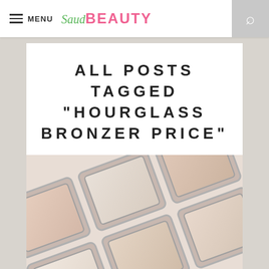MENU | SaudBEAUTY
ALL POSTS TAGGED "HOURGLASS BRONZER PRICE"
[Figure (photo): Multiple Hourglass bronzer compact palettes arranged in a diagonal grid pattern on a white background, showing various shades of nude/bronzer powder compacts with silver metallic frames.]
MIRIAM NAKHLA